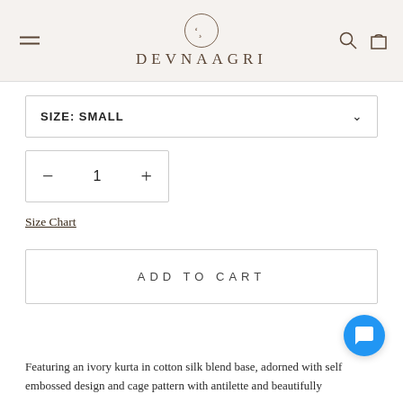DEVNAAGRI
SIZE: SMALL
1
Size Chart
ADD TO CART
Featuring an ivory kurta in cotton silk blend base, adorned with self embossed design and cage pattern with antilette and beautifully